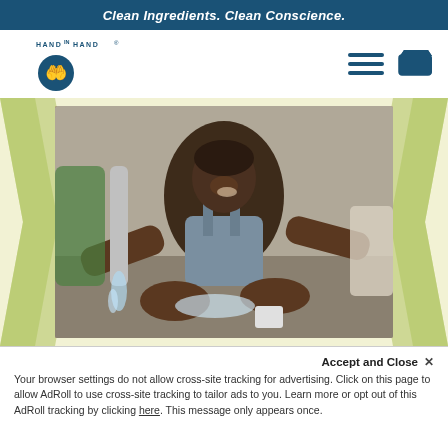Clean Ingredients. Clean Conscience.
[Figure (logo): Hand in Hand soap brand logo with stylized hands icon]
[Figure (photo): A smiling young child washing hands at a water tap, surrounded by adult hands, in a developing country setting]
Accept and Close ✕
Your browser settings do not allow cross-site tracking for advertising. Click on this page to allow AdRoll to use cross-site tracking to tailor ads to you. Learn more or opt out of this AdRoll tracking by clicking here. This message only appears once.